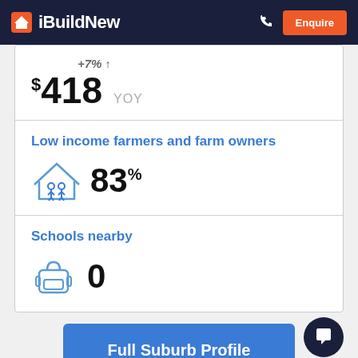iBuildNew — Enquire
+7% ↑ $418 YOY
Low income farmers and farm owners
83%
Schools nearby
0
Full Suburb Profile